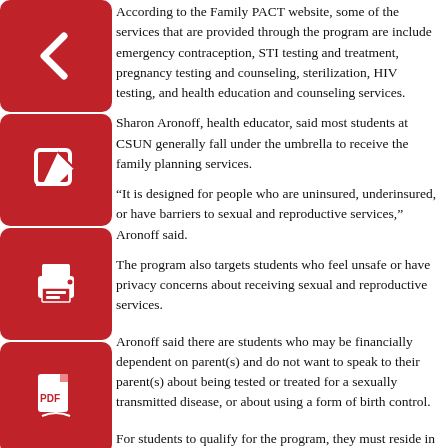[Figure (other): Red square icon button with white left-arrow]
[Figure (other): Red square icon button with white edit/pencil icon]
[Figure (other): Red square icon button with white printer icon]
[Figure (other): Red square icon button with white PDF/document icon]
According to the Family PACT website, some of the services that are provided through the program are include emergency contraception, STI testing and treatment, pregnancy testing and counseling, sterilization, HIV testing, and health education and counseling services.
Sharon Aronoff, health educator, said most students at CSUN generally fall under the umbrella to receive the family planning services.
"It is designed for people who are uninsured, underinsured, or have barriers to sexual and reproductive services," Aronoff said.
The program also targets students who feel unsafe or have privacy concerns about receiving sexual and reproductive services.
Aronoff said there are students who may be financially dependent on parent(s) and do not want to speak to their parent(s) about being tested or treated for a sexually transmitted disease, or about using a form of birth control.
For students to qualify for the program, they must reside in California, be under the age of 65, and have proof they cannot afford these health services on their own.